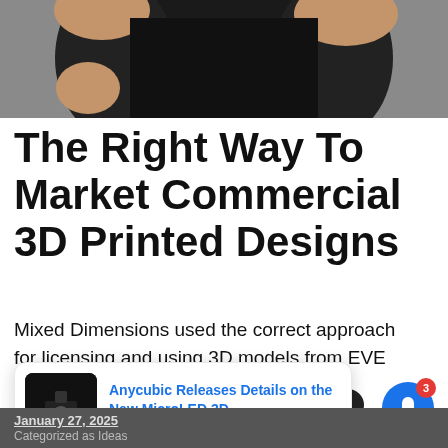[Figure (photo): Cropped photo of a person wearing a black t-shirt, visible from the neck/shoulders down, arms raised, on a gray background.]
The Right Way To Market Commercial 3D Printed Designs
Mixed Dimensions used the correct approach for licensing and using 3D models from EVE Online for their printing service.
[Figure (screenshot): Notification card showing a thumbnail of a 3D printer, with headline 'Anycubic Releases Details on the New MicroLED 3D' and timestamp '6 hours ago']
January 27, 2025
Categorized as Ideas